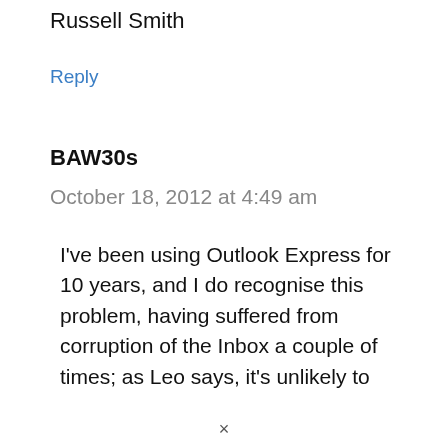Russell Smith
Reply
BAW30s
October 18, 2012 at 4:49 am
I've been using Outlook Express for 10 years, and I do recognise this problem, having suffered from corruption of the Inbox a couple of times; as Leo says, it's unlikely to